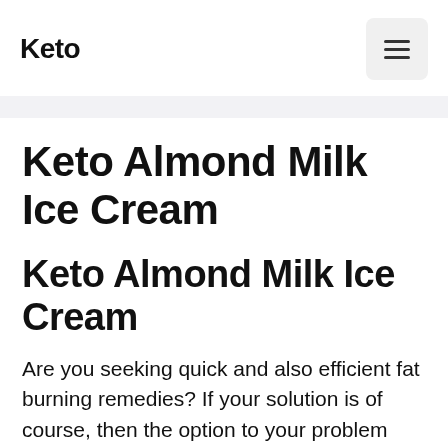Keto
Keto Almond Milk Ice Cream
Keto Almond Milk Ice Cream
Are you seeking quick and also efficient fat burning remedies? If your solution is of course, then the option to your problem would be keto diet. In keto diet, your body